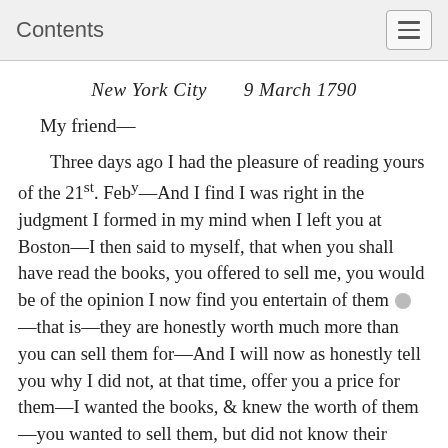Contents
New York City     9 March 1790
My friend—
Three days ago I had the pleasure of reading yours of the 21st. Febyⁿ—And I find I was right in the judgment I formed in my mind when I left you at Boston—I then said to myself, that when you shall have read the books, you offered to sell me, you would be of the opinion I now find you entertain of them [1]—that is—they are honestly worth much more than you can sell them for—And I will now as honestly tell you why I did not, at that time, offer you a price for them—I wanted the books, & knew the worth of them—you wanted to sell them, but did not know their value, or their intrinsic merit—And if I